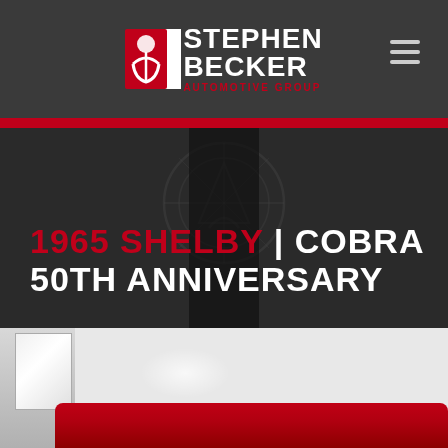[Figure (logo): Stephen Becker Automotive Group logo with red shield-like icon on left and white bold text STEPHEN BECKER on right with red AUTOMOTIVE GROUP subtitle]
1965 SHELBY | COBRA 50TH ANNIVERSARY
[Figure (photo): Partial view of a red classic car (1965 Shelby Cobra) in a garage/showroom setting with white walls and a window on the left]